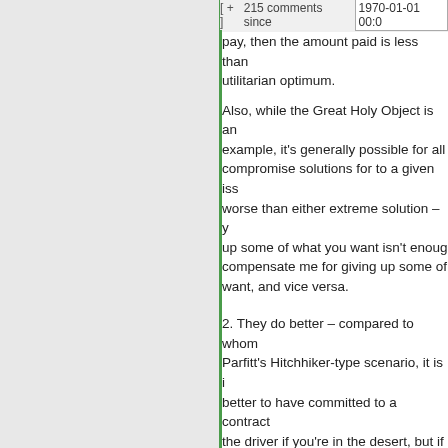[ + ]  215 comments since  1970-01-01 00:0
pay, then the amount paid is less than utilitarian optimum.
Also, while the Great Holy Object is an example, it's generally possible for all compromise solutions for to a given issue worse than either extreme solution – you up some of what you want isn't enough compensate me for giving up some of what want, and vice versa.
2. They do better – compared to whom Parfitt's Hitchhiker-type scenario, it is better to have committed to a contract the driver if you're in the desert, but if manage to get the driver to take you without committing to anything, you wo better if you'd get away without paying